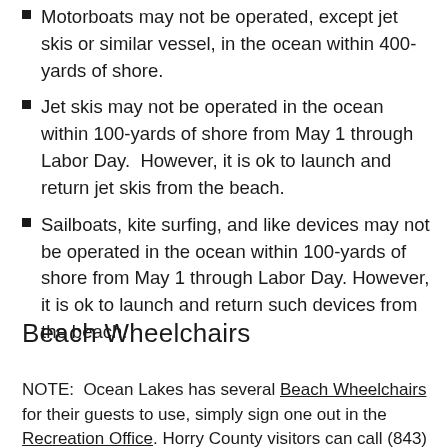Motorboats may not be operated, except jet skis or similar vessel, in the ocean within 400-yards of shore.
Jet skis may not be operated in the ocean within 100-yards of shore from May 1 through Labor Day.  However, it is ok to launch and return jet skis from the beach.
Sailboats, kite surfing, and like devices may not be operated in the ocean within 100-yards of shore from May 1 through Labor Day. However, it is ok to launch and return such devices from the beach.
Beach Wheelchairs
NOTE:  Ocean Lakes has several Beach Wheelchairs for their guests to use, simply sign one out in the Recreation Office. Horry County visitors can call (843) 381-8000, M-F from 8a-